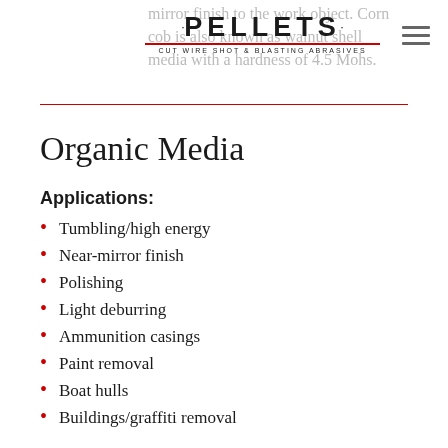PELLETS · Cut Wire Shot & Blasting Abrasives
mirror finish to the work object. Corn cob is also known as walnut shell media with a hardness of 4.5 Mohs.
Organic Media
Applications:
Tumbling/high energy
Near-mirror finish
Polishing
Light deburring
Ammunition casings
Paint removal
Boat hulls
Buildings/graffiti removal